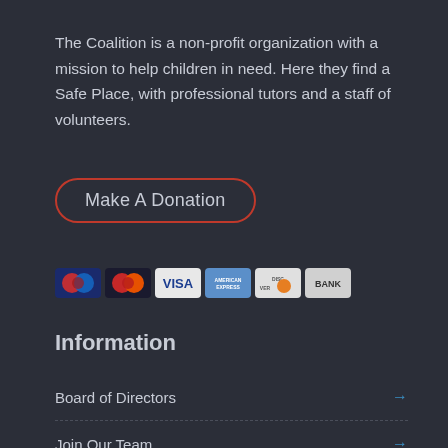The Coalition is a non-profit organization with a mission to help children in need. Here they find a Safe Place, with professional tutors and a staff of volunteers.
[Figure (screenshot): Make A Donation button with red rounded border]
[Figure (other): Payment method icons: Mastercard (blue/red), Mastercard (red/orange variant), VISA, American Express, Discover, BANK]
Information
Board of Directors
Join Our Team
Programs